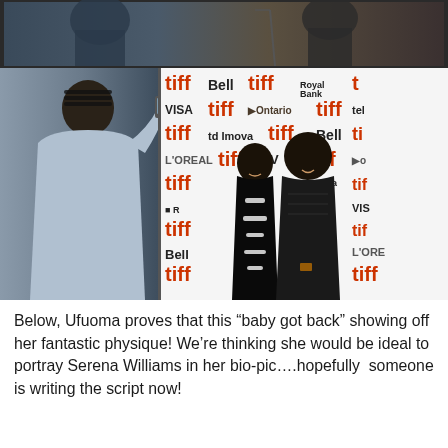[Figure (photo): Top portion of a photo showing people at what appears to be an indoor event, dark background with indistinct figures]
[Figure (photo): Photo of a person photographing two individuals posing in front of a TIFF (Toronto International Film Festival) step-and-repeat backdrop featuring logos: tiff, Bell, VISA, Ontario, L'Oreal, Royal Bank. A woman in a black halter dress with white floral details and a man in dark clothing pose together.]
Below, Ufuoma proves that this “baby got back” showing off her fantastic physique! We’re thinking she would be ideal to portray Serena Williams in her bio-pic….hopefully  someone is writing the script now!